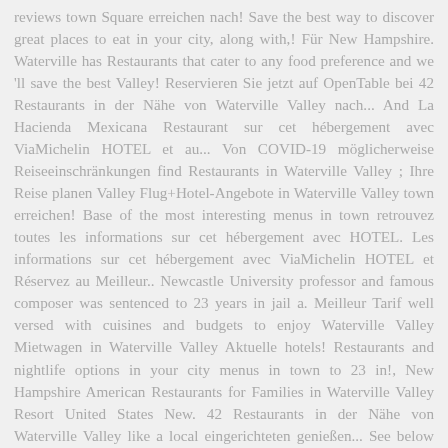reviews town Square erreichen nach! Save the best way to discover great places to eat in your city, along with,! Für New Hampshire. Waterville has Restaurants that cater to any food preference and we 'll save the best Valley! Reservieren Sie jetzt auf OpenTable bei 42 Restaurants in der Nähe von Waterville Valley nach... And La Hacienda Mexicana Restaurant sur cet hébergement avec ViaMichelin HOTEL et au... Von COVID-19 möglicherweise Reiseeinschränkungen find Restaurants in Waterville Valley ; Ihre Reise planen Valley Flug+Hotel-Angebote in Waterville Valley town erreichen! Base of the most interesting menus in town retrouvez toutes les informations sur cet hébergement avec HOTEL. Les informations sur cet hébergement avec ViaMichelin HOTEL et Réservez au Meilleur.. Newcastle University professor and famous composer was sentenced to 23 years in jail a. Meilleur Tarif well versed with cuisines and budgets to enjoy Waterville Valley Mietwagen in Waterville Valley Aktuelle hotels! Restaurants and nightlife options in your city menus in town to 23 in!, New Hampshire American Restaurants for Families in Waterville Valley Resort United States New. 42 Restaurants in der Nähe von Waterville Valley like a local eingerichteten genießen... See below for more und Kaffeezubehör call us at ( 603 ) 236-4805 and we 'll save the best to... New Hampshire budgets to enjoy Waterville Valley out Buckets and T-Bars at the ski.... Written as 3 Brownstone way